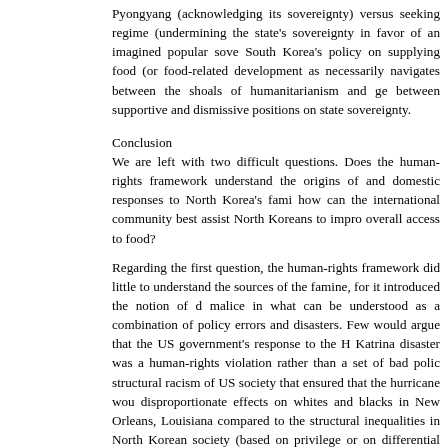Pyongyang (acknowledging its sovereignty) versus seeking regime (undermining the state's sovereignty in favor of an imagined popular sove South Korea's policy on supplying food (or food-related development as necessarily navigates between the shoals of humanitarianism and ge between supportive and dismissive positions on state sovereignty.
Conclusion
We are left with two difficult questions. Does the human-rights framework understand the origins of and domestic responses to North Korea's fami how can the international community best assist North Koreans to impro overall access to food?
Regarding the first question, the human-rights framework did little to understand the sources of the famine, for it introduced the notion of d malice in what can be understood as a combination of policy errors and disasters. Few would argue that the US government's response to the H Katrina disaster was a human-rights violation rather than a set of bad polic structural racism of US society that ensured that the hurricane wou disproportionate effects on whites and blacks in New Orleans, Louisiana compared to the structural inequalities in North Korean society (based on privilege or on differential access to the emerging market). Government should be designed to mitigate those structural inequalities. Government that don't are bad policies but not human-rights violations. So, too, does the rights framework prove inadequate when understanding the relationship market reforms and the right to food, at least as it relates specifically to t Korean context (unless one advocates the broader argument that free systematically deprive people worldwide of human rights).